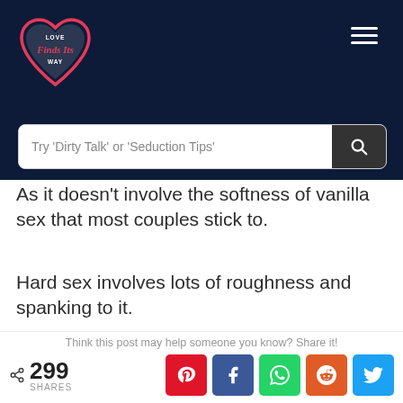[Figure (logo): Love Finds Its Way logo — heart shape with script text inside on dark navy background]
Try 'Dirty Talk' or 'Seduction Tips'
As it doesn't involve the softness of vanilla sex that most couples stick to.
Hard sex involves lots of roughness and spanking to it.
So considering the comfort zone of a woman you can stretch it as far as she is ready and
Think this post may help someone you know? Share it!
299 SHARES